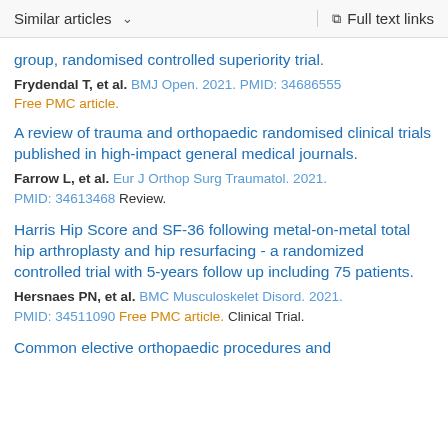Similar articles   ∨   Full text links
group, randomised controlled superiority trial.
Frydendal T, et al. BMJ Open. 2021. PMID: 34686555
Free PMC article.
A review of trauma and orthopaedic randomised clinical trials published in high-impact general medical journals.
Farrow L, et al. Eur J Orthop Surg Traumatol. 2021. PMID: 34613468 Review.
Harris Hip Score and SF-36 following metal-on-metal total hip arthroplasty and hip resurfacing - a randomized controlled trial with 5-years follow up including 75 patients.
Hersnaes PN, et al. BMC Musculoskelet Disord. 2021. PMID: 34511090 Free PMC article. Clinical Trial.
Common elective orthopaedic procedures and